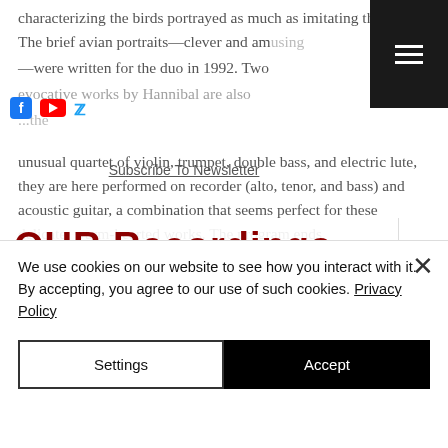characterizing the birds portrayed as much as imitating the songs. The brief avian portraits—clever and amusing—were written for the duo in 1992. Two evocative works by Hannibal are also...unusual quartet of violin, trumpet, double bass, and electric lute, they are here performed on recorder (alto, tenor, and bass) and acoustic guitar, a combination that seems perfect for these delicate, warm-hearted works. The program ends...
[Figure (logo): OUR Recordings logo in dark red bold text on white background]
Subscribe To Newsletter
We use cookies on our website to see how you interact with it. By accepting, you agree to our use of such cookies. Privacy Policy
Settings
Accept